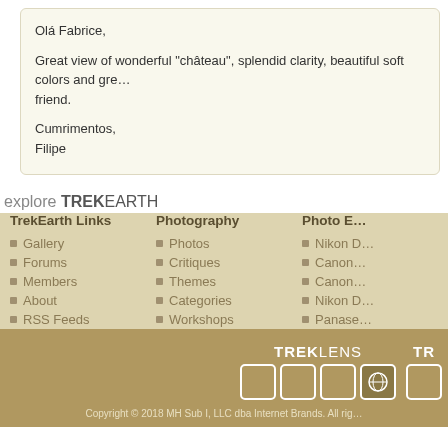Olá Fabrice,

Great view of wonderful "château", splendid clarity, beautiful soft colors and gre... friend.

Cumrimentos,
Filipe
explore TREKEARTH
TrekEarth Links: Gallery, Forums, Members, About, RSS Feeds
Photography: Photos, Critiques, Themes, Categories, Workshops
Photo E...: Nikon ..., Canon ..., Canon ..., Nikon ..., Panase...
[Figure (logo): TREKLENS logo with icon grid and globe icon]
Copyright © 2018 MH Sub I, LLC dba Internet Brands. All rig...